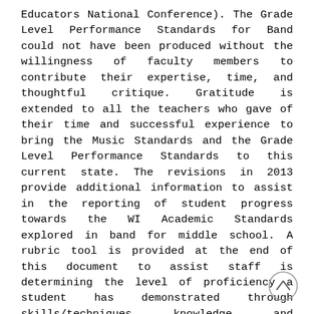Educators National Conference). The Grade Level Performance Standards for Band could not have been produced without the willingness of faculty members to contribute their expertise, time, and thoughtful critique. Gratitude is extended to all the teachers who gave of their time and successful experience to bring the Music Standards and the Grade Level Performance Standards to this current state. The revisions in 2013 provide additional information to assist in the reporting of student progress towards the WI Academic Standards explored in band for middle school. A rubric tool is provided at the end of this document to assist staff is determining the level of proficiency a student has demonstrated through skills/techniques, knowledge, and application of the content area. 2
[Figure (other): A circular scroll-up / chevron-up navigation button in the bottom-right corner.]